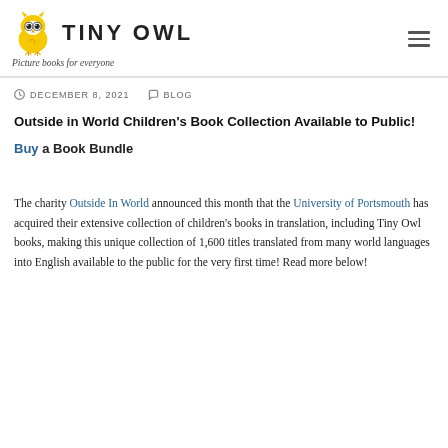TINY OWL — Picture books for everyone
DECEMBER 8, 2021   BLOG
Outside in World Children’s Book Collection Available to Public!
Buy a Book Bundle
The charity Outside In World announced this month that the University of Portsmouth has acquired their extensive collection of children’s books in translation, including Tiny Owl books, making this unique collection of 1,600 titles translated from many world languages into English available to the public for the very first time! Read more below!